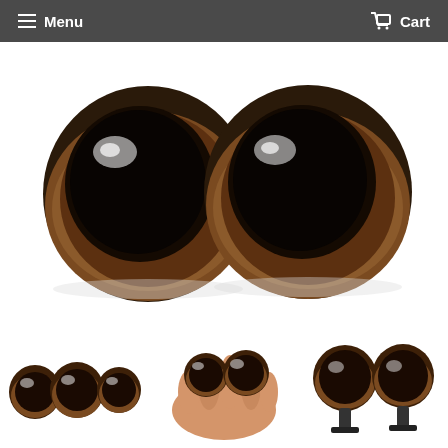Menu   Cart
[Figure (photo): Two large brown safety eyes (craft/toy eyes) with glossy black pupils and brown iris rims, photographed on a white background, shown as a pair side by side.]
[Figure (photo): Three small brown safety eyes shown from the front, as thumbnail.]
[Figure (photo): A hand holding two brown safety eyes, showing their size relative to fingers.]
[Figure (photo): Two brown safety eyes shown from the side/back, revealing the metal washer/bolt post attachment.]